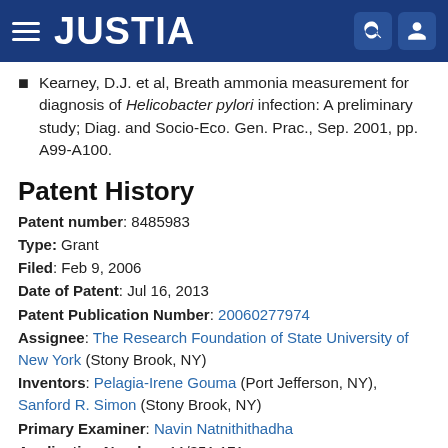JUSTIA
Kearney, D.J. et al, Breath ammonia measurement for diagnosis of Helicobacter pylori infection: A preliminary study; Diag. and Socio-Eco. Gen. Prac., Sep. 2001, pp. A99-A100.
Patent History
Patent number: 8485983
Type: Grant
Filed: Feb 9, 2006
Date of Patent: Jul 16, 2013
Patent Publication Number: 20060277974
Assignee: The Research Foundation of State University of New York (Stony Brook, NY)
Inventors: Pelagia-Irene Gouma (Port Jefferson, NY), Sanford R. Simon (Stony Brook, NY)
Primary Examiner: Navin Natnithithadha
Application Number: 11/351,171